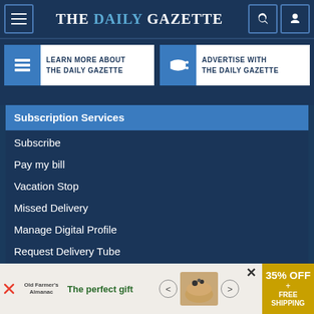THE DAILY GAZETTE
[Figure (infographic): LEARN MORE ABOUT THE DAILY GAZETTE button with stacked layers icon]
[Figure (infographic): ADVERTISE WITH THE DAILY GAZETTE button with megaphone icon]
Subscription Services
Subscribe
Pay my bill
Vacation Stop
Missed Delivery
Manage Digital Profile
Request Delivery Tube
Escalated Customer Service Concerns
Escalated Delivery Issues
[Figure (infographic): Advertisement banner: The perfect gift, 35% OFF + FREE SHIPPING]